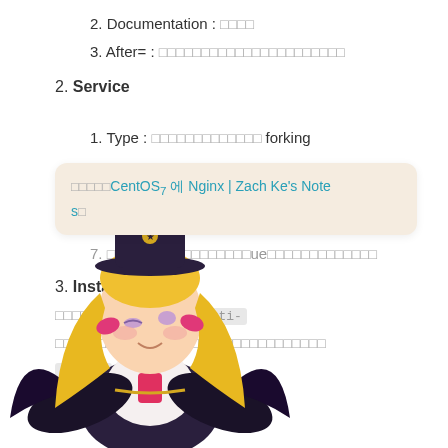2. Documentation : □□□□
3. After= : □□□□□□□□□□□□□□□□□□□□□□
2. Service
1. Type : □□□□□□□□□□□□□ forking
□□□□□CentOS 7 에 Nginx | Zach Ke's Notes□
3. ExecStartPre : □□□□□□□□□□□□□□□□ □t
4. □□□□□□□ : □□
□□□□□□□ : □□
7. □□□□□□□□□□□□□□□□□ue□□□□□□□□□□□□□
3. Install
□□□□□□□□□□□ , □□□ multi-
□□□□□□□□□□□□□□□□□□□□□□□□□□□□□□□□
enable □□□□□□□□□□□□□□